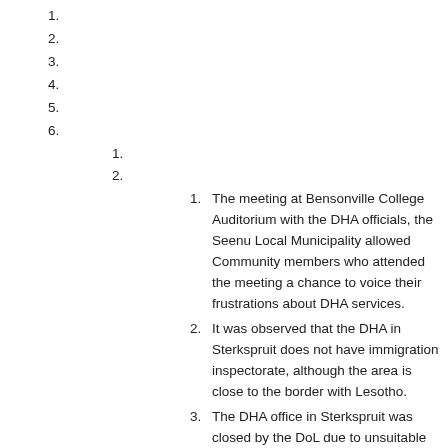1.
2.
3.
4.
5.
6.
1.
2.
1. The meeting at Bensonville College Auditorium with the DHA officials, the Seenu Local Municipality allowed Community members who attended the meeting a chance to voice their frustrations about DHA services.
2. It was observed that the DHA in Sterkspruit does not have immigration inspectorate, although the area is close to the border with Lesotho.
3. The DHA office in Sterkspruit was closed by the DoL due to unsuitable working conditions but the DHA made provision for the community to continue getting services.
4. The relationship between the DHA and DPW